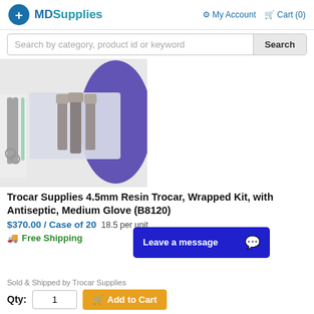MDSupplies   My Account   Cart (0)
Search by category, product id or keyword
[Figure (photo): Product photo showing trocar surgical supply kit components: three metal trocars on a white tray, black surgical scissors on the left, and blue surgical glove on the right]
Trocar Supplies 4.5mm Resin Trocar, Wrapped Kit, with Antiseptic, Medium Glove (B8120)
$370.00 / Case of 20  18.5 per unit
Free Shipping
Leave a message
Sold & Shipped by Trocar Supplies
Qty:  1  Add to Cart